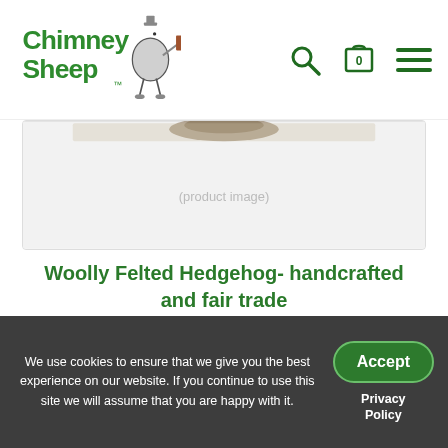Chimney Sheep - navigation header with logo, search, cart (0), and menu icons
[Figure (photo): Product image area showing partial view of Woolly Felted Hedgehog product, cropped at top of page]
Woolly Felted Hedgehog- handcrafted and fair trade
£6.00
Add to basket
We use cookies to ensure that we give you the best experience on our website. If you continue to use this site we will assume that you are happy with it.
Accept
Privacy Policy